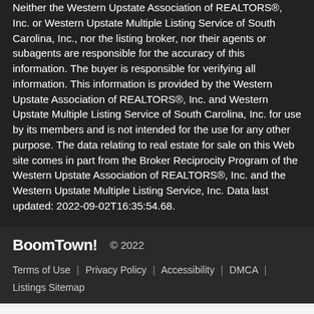Neither the Western Upstate Association of REALTORS®, Inc. or Western Upstate Multiple Listing Service of South Carolina, Inc., nor the listing broker, nor their agents or subagents are responsible for the accuracy of this information. The buyer is responsible for verifying all information. This information is provided by the Western Upstate Association of REALTORS®, Inc. and Western Upstate Multiple Listing Service of South Carolina, Inc. for use by its members and is not intended for the use for any other purpose. The data relating to real estate for sale on this Web site comes in part from the Broker Reciprocity Program of the Western Upstate Association of REALTORS®, Inc. and the Western Upstate Multiple Listing Service, Inc. Data last updated: 2022-09-02T16:35:54.68.
BoomTown! © 2022 | Terms of Use | Privacy Policy | Accessibility | DMCA | Listings Sitemap
Take a Tour | Ask A Question